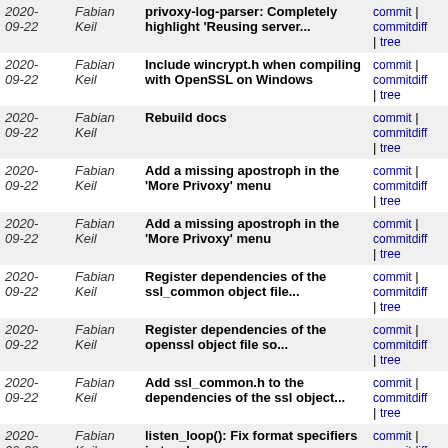| Date | Author | Message | Links |
| --- | --- | --- | --- |
| 2020-09-22 | Fabian Keil | privoxy-log-parser: Completely highlight 'Reusing server... | commit | commitdiff | tree |
| 2020-09-22 | Fabian Keil | Include wincrypt.h when compiling with OpenSSL on Windows | commit | commitdiff | tree |
| 2020-09-22 | Fabian Keil | Rebuild docs | commit | commitdiff | tree |
| 2020-09-22 | Fabian Keil | Add a missing apostroph in the 'More Privoxy' menu | commit | commitdiff | tree |
| 2020-09-22 | Fabian Keil | Add a missing apostroph in the 'More Privoxy' menu | commit | commitdiff | tree |
| 2020-09-22 | Fabian Keil | Register dependencies of the ssl_common object file... | commit | commitdiff | tree |
| 2020-09-22 | Fabian Keil | Register dependencies of the openssl object file so... | commit | commitdiff | tree |
| 2020-09-22 | Fabian Keil | Add ssl_common.h to the dependencies of the ssl object... | commit | commitdiff | tree |
| 2020-09-22 | Fabian Keil | listen_loop(): Fix format specifiers in two log messages | commit | commitdiff | tree |
| 2020-09-22 | Fabian Keil | Factor string_or_none() out of connection_destination_matches() | commit | commitdiff | tree |
| 2020-09-22 | Fabian Keil | Bump copyright | commit | commitdiff | tree |
| 2020-09-22 | Fabian Keil | remember_connection(): Remember the socks user name... | commit | commitdiff | tree |
| 2020-09-22 | Fabian Keil | Check the socks user name and password when comparing... | commit | commitdiff | tree |